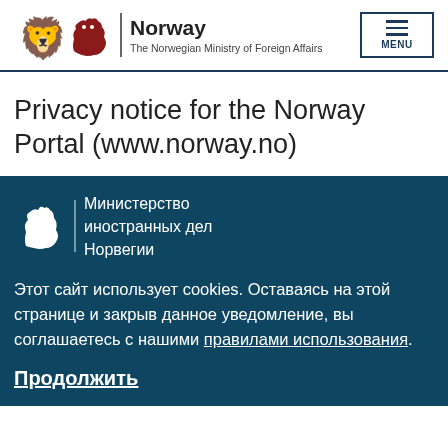Norway — The Norwegian Ministry of Foreign Affairs | MENU
Privacy notice for the Norway Portal (www.norway.no)
[Figure (logo): Norwegian lion coat of arms logo with text 'Министерство иностранных дел Норвегии' on dark teal background]
Этот сайт использует cookies. Оставаясь на этой странице и закрыв данное уведомление, вы соглашаетесь с нашими правилами использования.
Продолжить